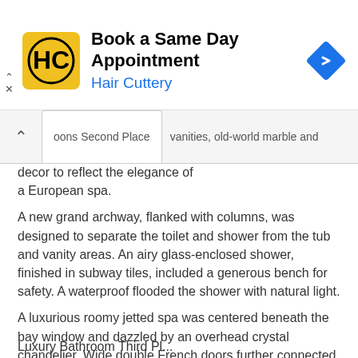[Figure (other): Hair Cuttery advertisement banner with logo, 'Book a Same Day Appointment' heading, 'Hair Cuttery' subtitle in blue, and a blue navigation diamond icon on the right.]
oons Second Place
vanities, old-world marble and decor to reflect the elegance of a European spa.
A new grand archway, flanked with columns, was designed to separate the toilet and shower from the tub and vanity areas. An airy glass-enclosed shower, finished in subway tiles, included a generous bench for safety. A waterproof flooded the shower with natural light.
A luxurious roomy jetted spa was centered beneath the bay window and dazzled by an overhead crystal chandelier. Wide double French doors further connected the rooms. Honed Italian Carara marble on the spa deck, vanity countertops, mosaic floor pad, shower threshold and shelf niches contrasted with the high sheen of mirror and vintage-styled polished nickel faucets. Romantic curves flowed from the archway to the rounded fronts of the symmetrically-balanced furniture-style vanities and spa deck.
Luxury Bathroom Third Pl...